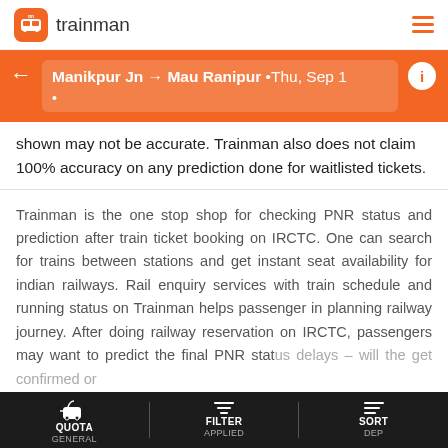[Figure (logo): Trainman app logo with orange TM box and trainman text]
Manikpur Jn → Mau Ranipur • Thu, Sep 1 •
shown may not be accurate. Trainman also does not claim 100% accuracy on any prediction done for waitlisted tickets.
Trainman is the one stop shop for checking PNR status and prediction after train ticket booking on IRCTC. One can search for trains between stations and get instant seat availability for indian railways. Rail enquiry services with train schedule and running status on Trainman helps passenger in planning railway journey. After doing railway reservation on IRCTC, passengers may want to predict the final PNR status delays – will the get confirmed or
QUOTA GENERAL | FILTER APPLIED | SORT DEP